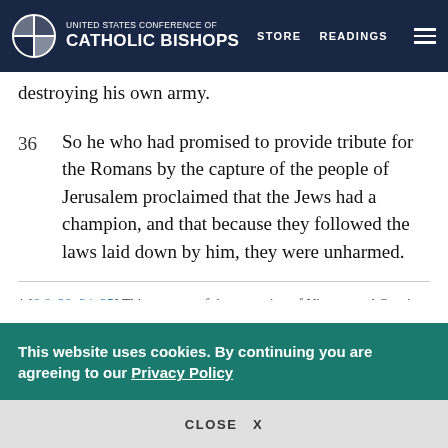UNITED STATES CONFERENCE OF CATHOLIC BISHOPS | STORE | READINGS
country like a runaway slave, until he reached destroying his own army.
36 So he who had promised to provide tribute for the Romans by the capture of the people of Jerusalem proclaimed that the Jews had a champion, and that because they followed the laws laid down by him, they were unharmed.
* [8:8–29, 34–35] This account of the campaign of Nicanor and Gorgias against Judas is paralleled, with certain differences, in 1 Mc 3:38–4:24.
This website uses cookies. By continuing you are agreeing to our Privacy Policy
CLOSE X